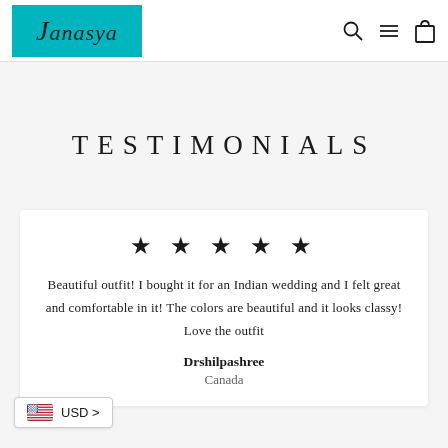[Figure (logo): Janasya brand logo — teal/turquoise background with 'Janasya' in italic serif font]
[Figure (infographic): Navigation icons: search (magnifying glass), menu (hamburger lines), cart (shopping bag)]
TESTIMONIALS
★ ★ ★ ★ ★
Beautiful outfit! I bought it for an Indian wedding and I felt great and comfortable in it! The colors are beautiful and it looks classy! Love the outfit
Drshilpashree
USD >